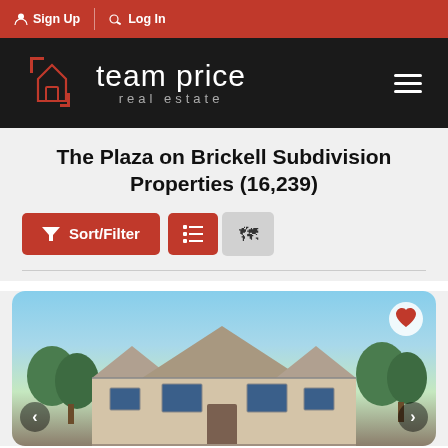Sign Up | Log In
[Figure (logo): Team Price Real Estate logo with house icon on black background]
The Plaza on Brickell Subdivision Properties (16,239)
[Figure (screenshot): Sort/Filter button (red), list view icon button (red), map view icon button (gray)]
[Figure (photo): Exterior photo of a large brick single-story home with multiple gables, blue sky, trees in background. Heart/favorite icon in top right. Navigation arrows on left and right.]